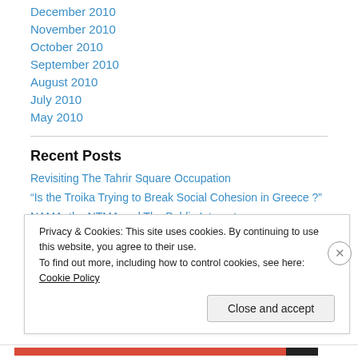December 2010
November 2010
October 2010
September 2010
August 2010
July 2010
May 2010
Recent Posts
Revisiting The Tahrir Square Occupation
“Is the Troika Trying to Break Social Cohesion in Greece ?”
NAMA, the NTMA and The Public Interest
Privacy & Cookies: This site uses cookies. By continuing to use this website, you agree to their use.
To find out more, including how to control cookies, see here: Cookie Policy
Close and accept